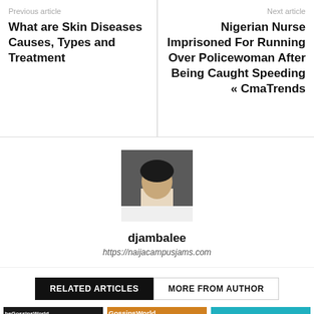Previous article
What are Skin Diseases Causes, Types and Treatment
Next article
Nigerian Nurse Imprisoned For Running Over Policewoman After Being Caught Speeding « CmaTrends
[Figure (photo): Author profile photo of djambalee]
djambalee
https://naijacampusjams.com
RELATED ARTICLES
MORE FROM AUTHOR
[Figure (photo): TheGossipsWorld movie thumbnail - dark toned group of men]
[Figure (photo): GossipsWorld thumbnail - colorful Indian TV show cast]
[Figure (photo): Colorful thumbnail with people in bright costumes]